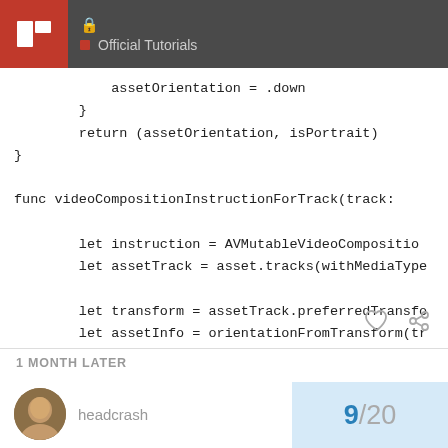Official Tutorials
[Figure (screenshot): Code block showing Swift code with assetOrientation = .down, return (assetOrientation, isPortrait), closing brace, and func videoCompositionInstructionForTrack(track: with let instruction = AVMutableVideoComposition, let assetTrack = asset.tracks(withMediaType, let transform = assetTrack.preferredTransfo, let assetInfo = orientationFromTransform(tr]
1 MONTH LATER
headcrash
9/20